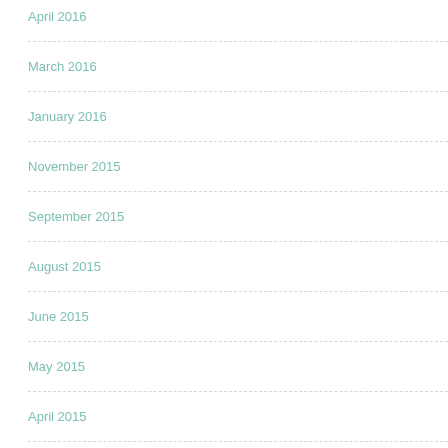April 2016
March 2016
January 2016
November 2015
September 2015
August 2015
June 2015
May 2015
April 2015
March 2015